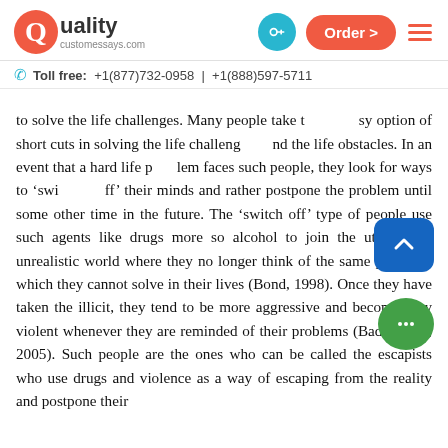Quality customessays.com | Order > | [key icon] | [menu icon]
Toll free: +1(877)732-0958 | +1(888)597-5711
to solve the life challenges. Many people take the easy option of short cuts in solving the life challenges and the life obstacles. In an event that a hard life problem faces such people, they look for ways to 'switch off' their minds and rather postpone the problem until some other time in the future. The 'switch off' type of people use such agents like drugs more so alcohol to join the utopia and unrealistic world where they no longer think of the same problems which they cannot solve in their lives (Bond, 1998). Once they have taken the illicit, they tend to be more aggressive and become very violent whenever they are reminded of their problems (Badegruber, 2005). Such people are the ones who can be called the escapists who use drugs and violence as a way of escaping from the reality and postpone their